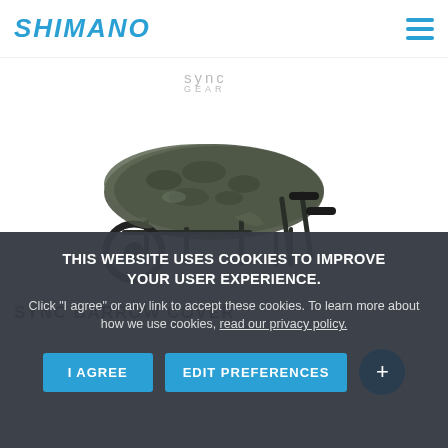SHIMANO
[Figure (logo): SYNC GEAR logo in light gray uppercase text]
[Figure (photo): A fishing barrow/cart with camouflage cover, dark green frame, two large pneumatic wheels and folding handles, on white background]
SYNC BARROW COVER
THIS WEBSITE USES COOKIES TO IMPROVE YOUR USER EXPERIENCE. Click "I agree" or any link to accept these cookies. To learn more about how we use cookies, read our privacy policy.
I AGREE
EDIT PREFERENCES